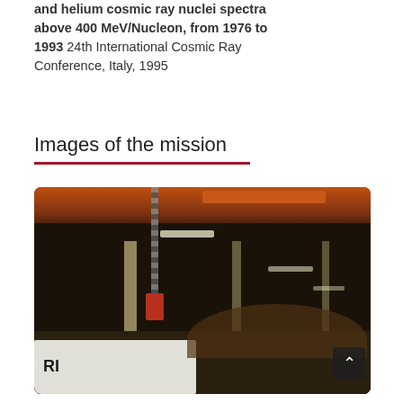and helium cosmic ray nuclei spectra above 400 MeV/Nucleon, from 1976 to 1993 24th International Cosmic Ray Conference, Italy, 1995
Images of the mission
[Figure (photo): Photograph inside a large industrial warehouse or hangar showing a chain hoist with a red hook hanging from the ceiling, metal support columns, fluorescent ceiling lights, equipment on the floor including a white machine, and people visible in the background.]